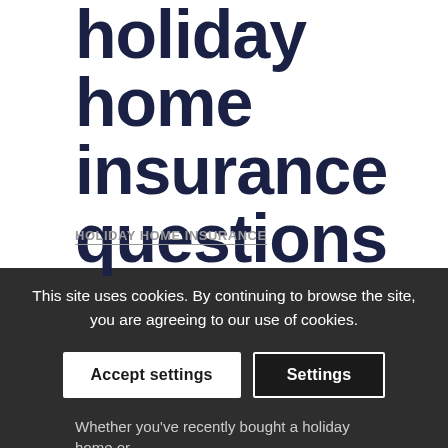holiday home insurance questions
HOLIDAY HOME INSURANCE
This site uses cookies. By continuing to browse the site, you are agreeing to our use of cookies.
Accept settings
Settings
Whether you've recently bought a holiday home or